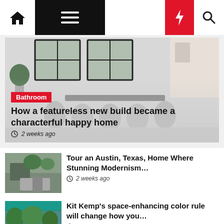Navigation bar with home, menu, moon, flash, search icons
[Figure (photo): Interior dining room with white chairs, dark table, large black-frame windows and plants — hero article image for 'How a featureless new build became a characterful happy home']
Bathroom
How a featureless new build became a characterful happy home
2 weeks ago
[Figure (photo): Modern Austin Texas living room interior with plants and open windows]
Tour an Austin, Texas, Home Where Stunning Modernism…
2 weeks ago
[Figure (photo): Colorful sunroom/conservatory with tropical plants and bright teal ceiling]
Kit Kemp's space-enhancing color rule will change how you…
2 weeks ago